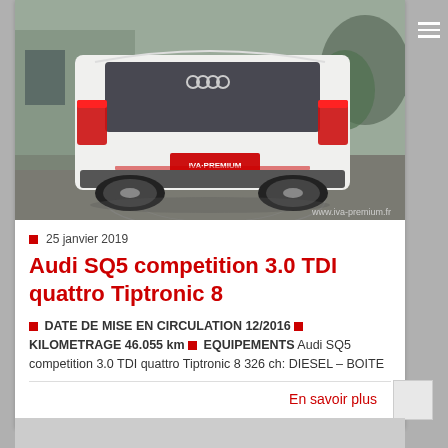[Figure (photo): Rear three-quarter view of a white Audi SQ5 SUV in a parking area, with watermark 'www.iva-premium.fr']
25 janvier 2019
Audi SQ5 competition 3.0 TDI quattro Tiptronic 8
DATE DE MISE EN CIRCULATION 12/2016 ■ KILOMETRAGE 46.055 km ■ EQUIPEMENTS Audi SQ5 competition 3.0 TDI quattro Tiptronic 8 326 ch: DIESEL – BOITE
En savoir plus